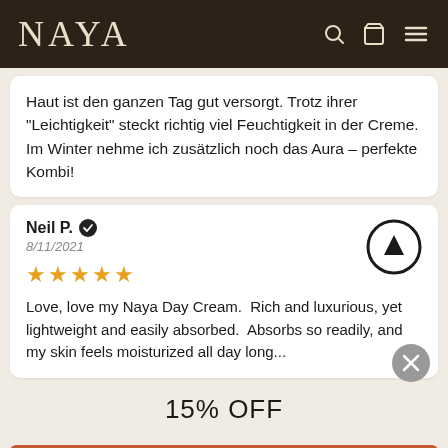NAYA
Haut ist den ganzen Tag gut versorgt. Trotz ihrer "Leichtigkeit" steckt richtig viel Feuchtigkeit in der Creme. Im Winter nehme ich zusätzlich noch das Aura – perfekte Kombi!
Neil P. ✔ 8/11/2021 ★★★★★ Love, love my Naya Day Cream.  Rich and luxurious, yet lightweight and easily absorbed.  Absorbs so readily, and my skin feels moisturized all day long...
15% OFF
ACTIVATE DISCOUNT